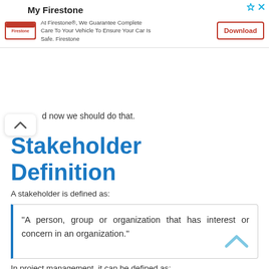[Figure (screenshot): Advertisement banner for My Firestone app with logo, description text, and Download button]
d now we should do that.
Stakeholder Definition
A stakeholder is defined as:
“A person, group or organization that has interest or concern in an organization.”
In project management, it can be defined as: